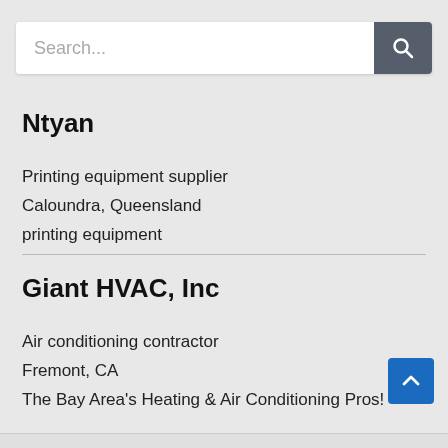[Figure (screenshot): Search bar with placeholder text 'Search...' and a dark grey search button with magnifying glass icon]
Ntyan
Printing equipment supplier
Caloundra, Queensland
printing equipment
Giant HVAC, Inc
Air conditioning contractor
Fremont, CA
The Bay Area's Heating & Air Conditioning Pros!